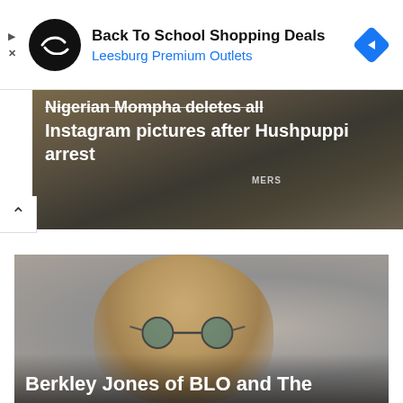[Figure (screenshot): Ad banner for Back To School Shopping Deals at Leesburg Premium Outlets with circular logo and blue arrow diamond icon]
Back To School Shopping Deals
Leesburg Premium Outlets
[Figure (photo): News article image showing people standing, with strikethrough headline text overlay about Nigerian Mompha deleting Instagram pictures after Hushpuppi arrest]
Nigerian Mompha deletes all Instagram pictures after Hushpuppi arrest
[Figure (photo): Photo of a bald man wearing round sunglasses with a mustache, against a grey background]
Berkley Jones of BLO and The